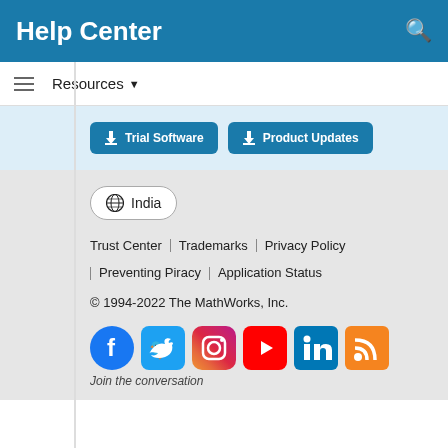Help Center
Resources ▾
[Figure (screenshot): Two download buttons: Trial Software and Product Updates on a light blue background]
[Figure (screenshot): India locale selector button with globe icon]
Trust Center | Trademarks | Privacy Policy
| Preventing Piracy | Application Status
© 1994-2022 The MathWorks, Inc.
[Figure (infographic): Social media icons: Facebook, Twitter, Instagram, YouTube, LinkedIn, RSS]
Join the conversation